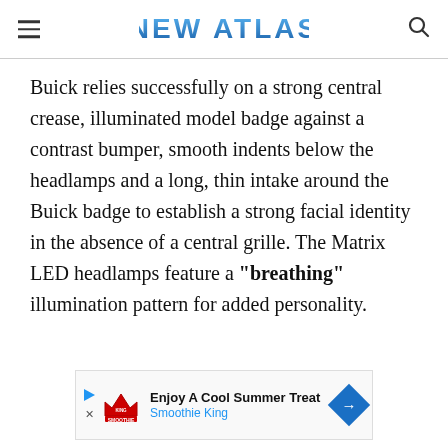NEW ATLAS
Buick relies successfully on a strong central crease, illuminated model badge against a contrast bumper, smooth indents below the headlamps and a long, thin intake around the Buick badge to establish a strong facial identity in the absence of a central grille. The Matrix LED headlamps feature a "breathing" illumination pattern for added personality.
[Figure (other): Advertisement banner for Smoothie King with logo, text 'Enjoy A Cool Summer Treat' and 'Smoothie King', a play button icon, an X close button, and a blue diamond arrow.]